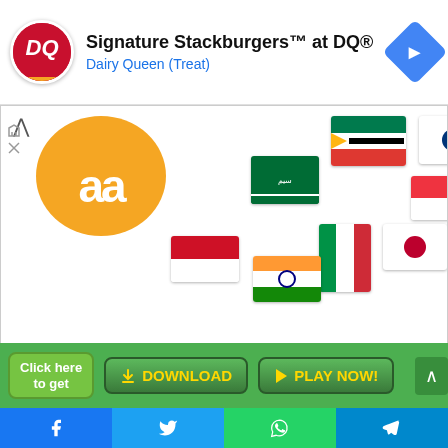[Figure (screenshot): Mobile app screenshot showing an orange AA logo with multiple country flags (Saudi Arabia, South Africa, South Korea, UN, Singapore, Indonesia, India, Italy, Japan, Thailand, USA, UAE). Website URL www.arewatechblog.com shown at bottom.]
Signature Stackburgers™ at DQ®
Dairy Queen (Treat)
www.arewatechblog.com
Click here to get
DOWNLOAD
PLAY NOW!